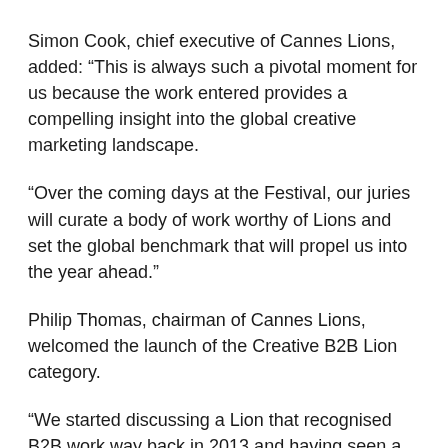Simon Cook, chief executive of Cannes Lions, added: “This is always such a pivotal moment for us because the work entered provides a compelling insight into the global creative marketing landscape.
“Over the coming days at the Festival, our juries will curate a body of work worthy of Lions and set the global benchmark that will propel us into the year ahead.”
Philip Thomas, chairman of Cannes Lions, welcomed the launch of the Creative B2B Lion category.
“We started discussing a Lion that recognised B2B work way back in 2013 and having seen a recent rise in B2B work winning Lions we felt that now was the right time to put it on the global stage,” he said.
“It’s now the job of our juries to determine the global benchmark and set the creative bar in this sector.”